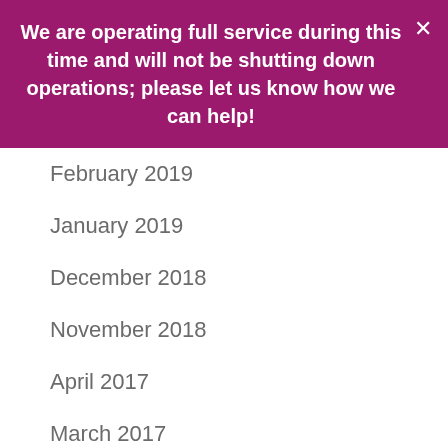We are operating full service during this time and will not be shutting down operations; please let us know how we can help!
February 2019
January 2019
December 2018
November 2018
April 2017
March 2017
December 2016
November 2016
[Figure (illustration): Map pin / location marker icon]